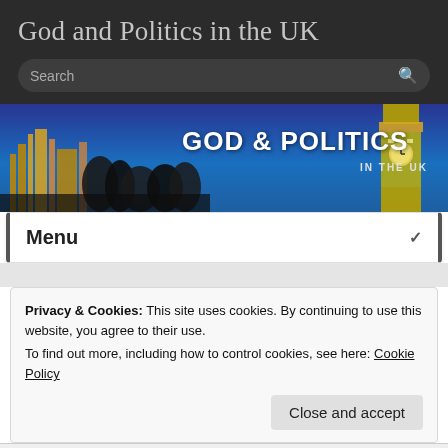God and Politics in the UK
[Figure (screenshot): Search bar on dark background]
[Figure (photo): Banner image showing Westminster/Big Ben silhouettes at night with text GOD & POLITICS IN THE UK]
Menu
Privacy & Cookies: This site uses cookies. By continuing to use this website, you agree to their use.
To find out more, including how to control cookies, see here: Cookie Policy
Close and accept
has been dominated by Christian voices — and by in